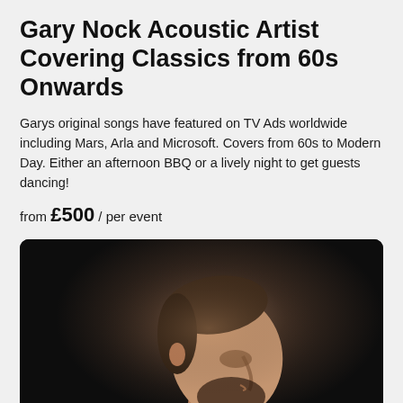Gary Nock Acoustic Artist Covering Classics from 60s Onwards
Garys original songs have featured on TV Ads worldwide including Mars, Arla and Microsoft. Covers from 60s to Modern Day. Either an afternoon BBQ or a lively night to get guests dancing!
from £500 / per event
[Figure (photo): Side profile portrait of a young man with short brown hair and beard, wearing a dark shirt, looking downward against a dark background with dramatic lighting.]